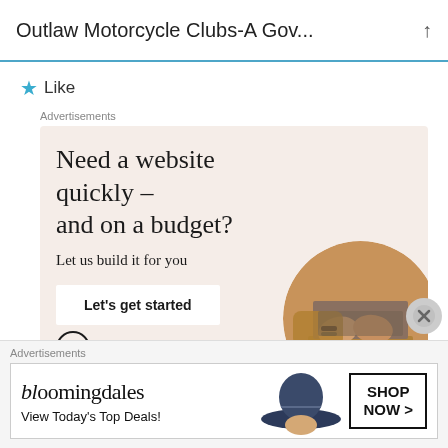Outlaw Motorcycle Clubs-A Gov...
★ Like
Advertisements
[Figure (illustration): WordPress advertisement: 'Need a website quickly – and on a budget? Let us build it for you' with a 'Let's get started' button, WordPress logo, and a circular photo of hands typing on a laptop.]
Advertisements
[Figure (illustration): Bloomingdale's advertisement showing logo, 'View Today's Top Deals!' text, a woman wearing a wide-brim hat, and a 'SHOP NOW >' button.]